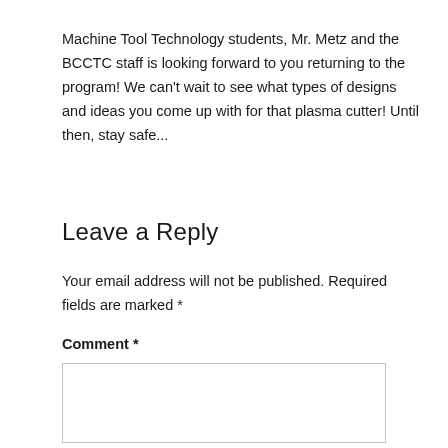Machine Tool Technology students, Mr. Metz and the BCCTC staff is looking forward to you returning to the program! We can't wait to see what types of designs and ideas you come up with for that plasma cutter! Until then, stay safe...
Leave a Reply
Your email address will not be published. Required fields are marked *
Comment *